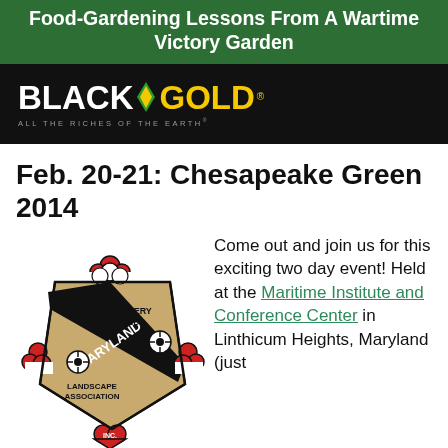Food-Gardening Lessons From A Wartime Victory Garden
[Figure (logo): Black Gold logo - black background with yellow and white text reading BLACK GOLD with a green leaf diamond, tagline ALL THE RICHES OF THE EARTH]
Feb. 20-21: Chesapeake Green 2014
[Figure (logo): Maryland Nursery and Landscape Association Inc. logo - shield/crest design with black diagonal sash, red and white decorative elements, flowers]
Come out and join us for this exciting two day event! Held at the Maritime Institute and Conference Center in Linthicum Heights, Maryland (just